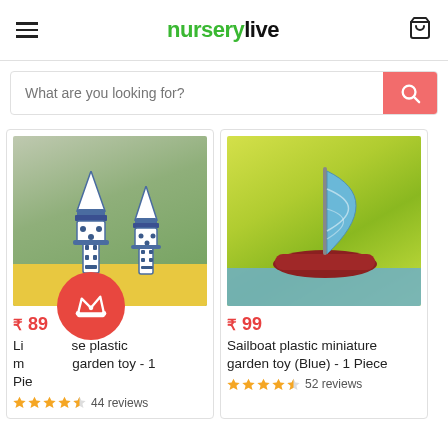nurserylive
What are you looking for?
[Figure (photo): Two white and blue miniature lighthouse figurines on yellow decorative stones with green blurred background]
₹ 89
Lighthouse plastic miniature garden toy - 1 Piece
44 reviews
[Figure (photo): A red and blue sailboat plastic miniature on blue decorative stones with green blurred background]
₹ 99
Sailboat plastic miniature garden toy (Blue) - 1 Piece
52 reviews